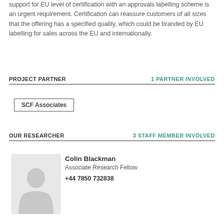support for EU level of certification with an approvals labelling scheme is an urgent requirement. Certification can reassure customers of all sizes that the offering has a specified quality, which could be branded by EU labelling for sales across the EU and internationally.
PROJECT PARTNER | 1 PARTNER INVOLVED
SCF Associates
OUR RESEARCHER | 3 STAFF MEMBER INVOLVED
[Figure (photo): Placeholder silhouette avatar of a person, light gray background]
Colin Blackman
Associate Research Fellow
+44 7850 732838